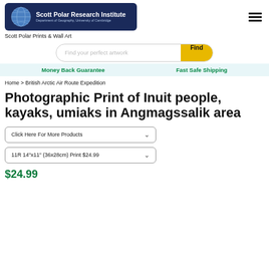[Figure (logo): Scott Polar Research Institute logo with globe icon and text 'Department of Geography, University of Cambridge']
Scott Polar Prints & Wall Art
[Figure (screenshot): Search bar with placeholder 'Find your perfect artwork' and yellow 'Find' button]
Money Back Guarantee   Fast Safe Shipping
Home > British Arctic Air Route Expedition
Photographic Print of Inuit people, kayaks, umiaks in Angmagssalik area
Click Here For More Products
11R 14"x11" (36x28cm) Print $24.99
$24.99